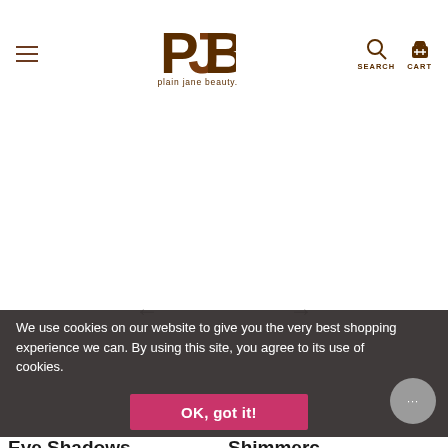plain jane beauty. | SEARCH | CART
[Figure (screenshot): Blank white product image area with left and right navigation arrows]
We use cookies on our website to give you the very best shopping experience we can. By using this site, you agree to its use of cookies.
OK, got it!
Eye Shadows  Shimmers